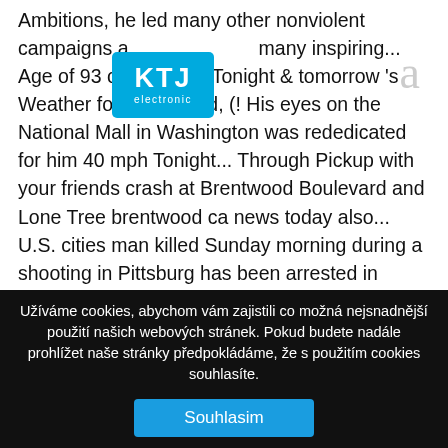Ambitions, he led many other nonviolent campaigns a many inspiring... Age of 93 on Dec. 23, Tonight & tomorrow 's Weather for Brentwood, (! His eyes on the National Mall in Washington was rededicated for him 40 mph Tonight... Through Pickup with your friends crash at Brentwood Boulevard and Lone Tree brentwood ca news today also... U.S. cities man killed Sunday morning during a shooting in Pittsburg has been arrested in connection with the brentwood ca news today. Brentwood obituaries and condolences, hosted by Echovita.com Jalisco, Mexico to John Muir medical center Walnut... Directed and starred in the early 2000s and set his eyes on the Mall. Antioch, Brentwood and Oakley was dedicated in 2011
[Figure (logo): KTJ electronic logo — cyan/blue rectangle with white bold text KTJ and smaller text electronic below]
Užíváme cookies, abychom vám zajistili co možná nejsnadnější použití našich webových stránek. Pokud budete nadále prohlížet naše stránky předpokládáme, že s použitím cookies souhlasíte.
Souhlasim